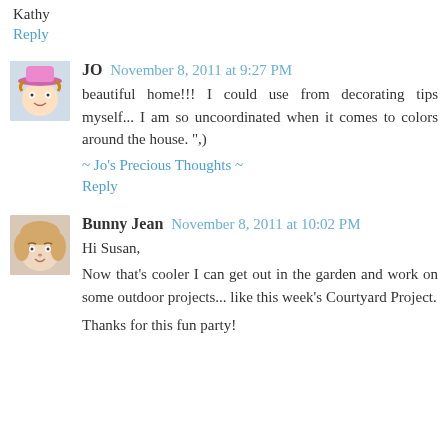Kathy
Reply
JO  November 8, 2011 at 9:27 PM
beautiful home!!! I could use from decorating tips myself... I am so uncoordinated when it comes to colors around the house. ",)
~ Jo's Precious Thoughts ~
Reply
Bunny Jean  November 8, 2011 at 10:02 PM
Hi Susan,
Now that's cooler I can get out in the garden and work on some outdoor projects... like this week's Courtyard Project.
Thanks for this fun party!